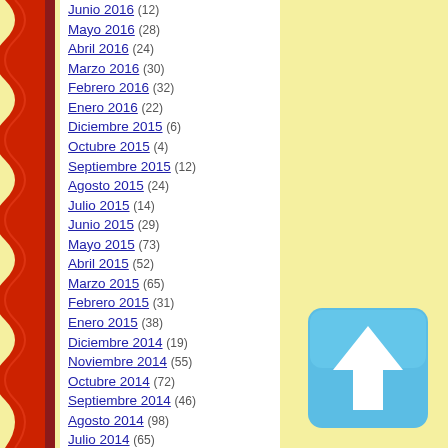[Figure (illustration): Wavy red and dark-red decorative left border with scalloped/wave pattern on yellow background]
Junio 2016 (12)
Mayo 2016 (28)
Abril 2016 (24)
Marzo 2016 (30)
Febrero 2016 (32)
Enero 2016 (22)
Diciembre 2015 (6)
Octubre 2015 (4)
Septiembre 2015 (12)
Agosto 2015 (24)
Julio 2015 (14)
Junio 2015 (29)
Mayo 2015 (73)
Abril 2015 (52)
Marzo 2015 (65)
Febrero 2015 (31)
Enero 2015 (38)
Diciembre 2014 (19)
Noviembre 2014 (55)
Octubre 2014 (72)
Septiembre 2014 (46)
Agosto 2014 (98)
Julio 2014 (65)
Junio 2014 (116)
Mayo 2014 (204)
Abril 2014 (37)
Marzo 2014 (18)
Febrero 2014 (14)
[Figure (illustration): Blue rounded square button with white upward-pointing arrow, scroll-to-top button]